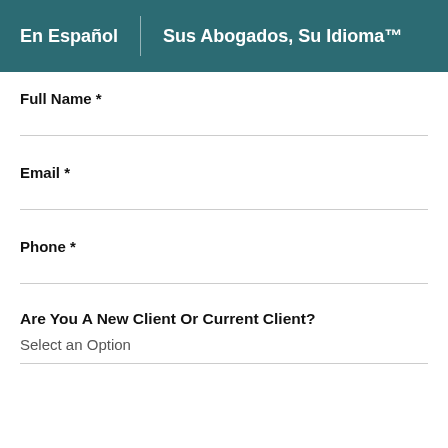En Español | Sus Abogados, Su Idioma™
Full Name *
Email *
Phone *
Are You A New Client Or Current Client?
Select an Option